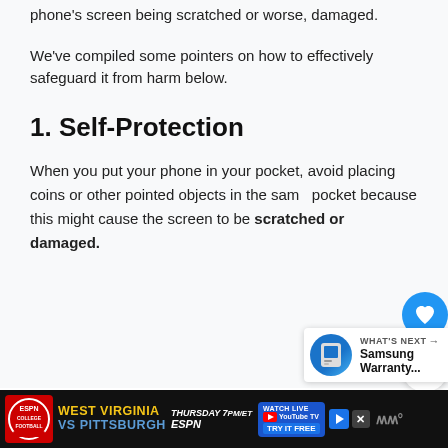phone's screen being scratched or worse, damaged.
We’ve compiled some pointers on how to effectively safeguard it from harm below.
1. Self-Protection
When you put your phone in your pocket, avoid placing coins or other pointed objects in the same pocket because this might cause the screen to be scratched or damaged.
[Figure (other): Floating heart/like button (blue circle with heart icon) and share button (white circle with share icon) overlaying the text content on the right side.]
[Figure (other): What's Next panel: thumbnail image of Samsung device, label 'WHAT'S NEXT ->', title 'Samsung Warranty...']
[Figure (other): ESPN College Football advertisement banner at bottom: West Virginia vs Pittsburgh, Thursday 7PM/ET, ESPN. Watch Live on YouTube TV - Try It Free. Close and play buttons.]